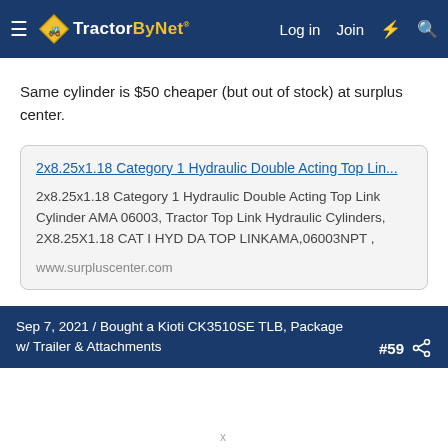TractorByNet — Log in | Join
Same cylinder is $50 cheaper (but out of stock) at surplus center.
[Figure (screenshot): Link preview card for surpluscenter.com showing: '2x8.25x1.18 Category 1 Hydraulic Double Acting Top Lin...' with description '2x8.25x1.18 Category 1 Hydraulic Double Acting Top Link Cylinder AMA 06003, Tractor Top Link Hydraulic Cylinders, 2X8.25X1.18 CAT I HYD DA TOP LINKAMA,06003NPT ,' and URL 'www.surpluscenter.com']
Sep 7, 2021 / Bought a Kioti CK3510SE TLB, Package w/ Trailer & Attachments #59